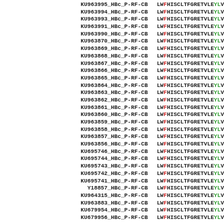[Figure (other): Multiple sequence alignment showing sequence IDs on the left (e.g. KU963995_HBc_P-RF-CB) and amino acid sequences on the right (LWFHISCLTFGRETVLEYLV...) with color-coded residues (black, green, red) for 30 rows.]